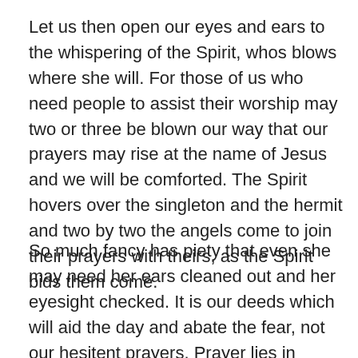Let us then open our eyes and ears to the whispering of the Spirit, whos blows where she will. For those of us who need people to assist their worship may two or three be blown our way that our prayers may rise at the name of Jesus and we will be comforted. The Spirit hovers over the singleton and the hermit and two by two the angels come to join their prayers with theirs, as the Spirit bids them come.
So much fancy has piety that even she may need her ears cleaned out and her eyesight checked. It is our deeds which will aid the day and abate the fear, not our hesitent prayers. Prayer lies in working and all work is prayer – is the Carmelites raison d'etre. Deeds not words, saint Francis said, only speak if naught else gets through.
Let us be reminded that the Goodness and mercy of God